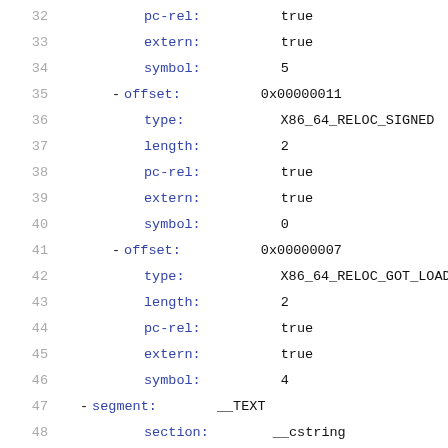32    pc-rel:    true
33    extern:    true
34    symbol:    5
35  - offset:    0x00000011
36    type:      X86_64_RELOC_SIGNED
37    length:    2
38    pc-rel:    true
39    extern:    true
40    symbol:    0
41  - offset:    0x00000007
42    type:      X86_64_RELOC_GOT_LOAD
43    length:    2
44    pc-rel:    true
45    extern:    true
46    symbol:    4
47  - segment:  __TEXT
48    section:  __cstring
49    type:      S_CSTRING_LITERALS
50    attributes: [  ]
51    address:   0x0000000000000020
52    content:   [ 0x68, 0x65, 0x6C, 0x6C, ...